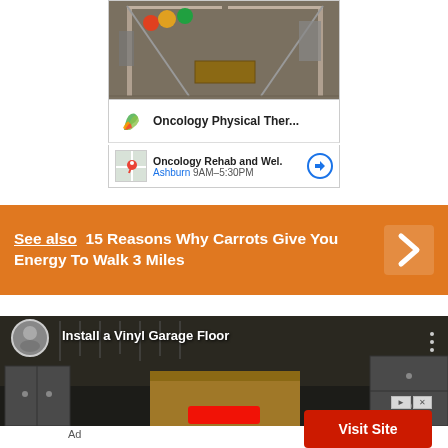[Figure (photo): Physical therapy gym with parallel walking bars and exercise equipment]
Oncology Physical Ther...
Oncology Rehab and Wel. Ashburn 9AM–5:30PM
See also  15 Reasons Why Carrots Give You Energy To Walk 3 Miles
[Figure (photo): Video thumbnail showing a garage with workbench, cabinets and man, titled Install a Vinyl Garage Floor]
Ad
Visit Site